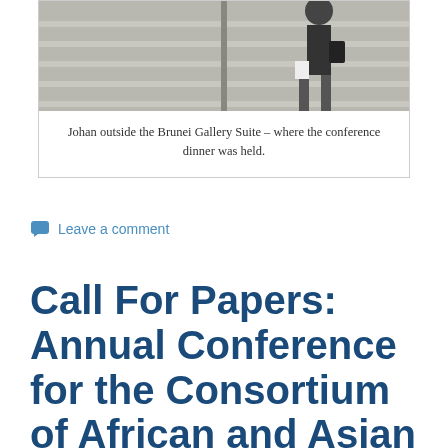[Figure (photo): Photo of Johan standing outside the Brunei Gallery Suite on stone steps, wearing a dark jacket and carrying a bag]
Johan outside the Brunei Gallery Suite – where the conference dinner was held.
Leave a comment
Call For Papers: Annual Conference for the Consortium of African and Asian Studies –